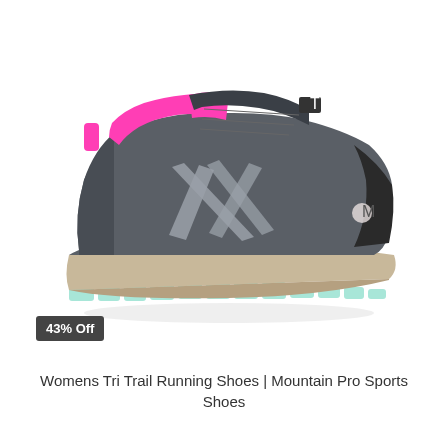[Figure (photo): A women's trail running shoe shown in profile (left side), primarily dark gray/charcoal color with pink collar lining, light gray strap overlays forming an X pattern on the upper, black toe cap and heel, light mint/aqua outsole lugs, and a beige/cream midsole. The shoe is displayed on a white background.]
43% Off
Womens Tri Trail Running Shoes | Mountain Pro Sports Shoes